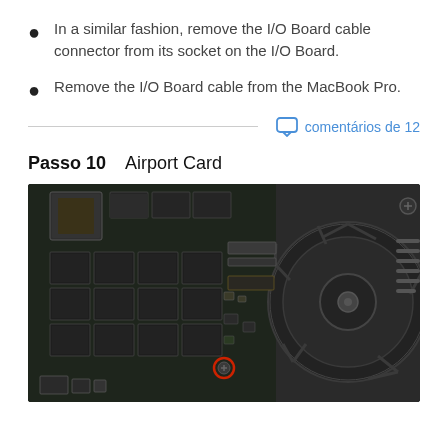In a similar fashion, remove the I/O Board cable connector from its socket on the I/O Board.
Remove the I/O Board cable from the MacBook Pro.
comentários de 12
Passo 10    Airport Card
[Figure (photo): Close-up photo of MacBook Pro internal components showing the logic board with memory chips, SSD modules, and a large cooling fan on the right side. A red-circled screw is visible near the bottom center.]